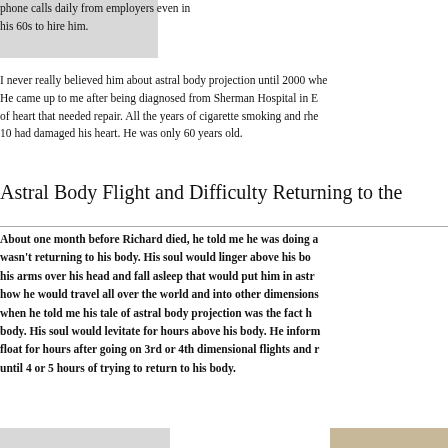phone calls daily from employers even in his 60s to hire him.
I never really believed him about astral body projection until 2000 whe... He came up to me after being diagnosed from Sherman Hospital in E... of heart that needed repair. All the years of cigarette smoking and rhe... 10 had damaged his heart. He was only 60 years old.
Astral Body Flight and Difficulty Returning to the
About one month before Richard died, he told me he was doing a... wasn't returning to his body. His soul would linger above his bo... his arms over his head and fall asleep that would put him in astr... how he would travel all over the world and into other dimensions... when he told me his tale of astral body projection was the fact h... body. His soul would levitate for hours above his body. He inform... float for hours after going on 3rd or 4th dimensional flights and r... until 4 or 5 hours of trying to return to his body.